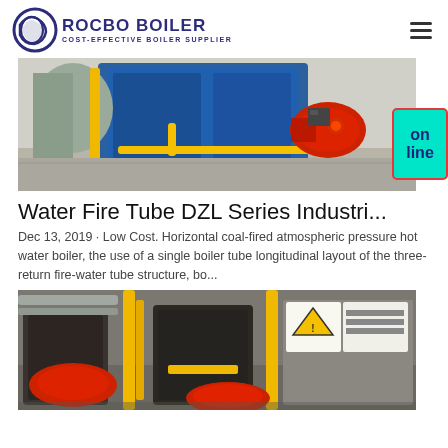ROCBO BOILER — COST-EFFECTIVE BOILER SUPPLIER
[Figure (photo): Industrial boiler equipment showing a large blue boiler unit with red burner attachment and yellow piping in an industrial facility]
Water Fire Tube DZL Series Industri...
Dec 13, 2019 · Low Cost. Horizontal coal-fired atmospheric pressure hot water boiler, the use of a single boiler tube longitudinal layout of the three-return fire-water tube structure, bo...
[Figure (photo): Multiple industrial boilers in a boiler room with yellow pipes, red burners, and warning signs]